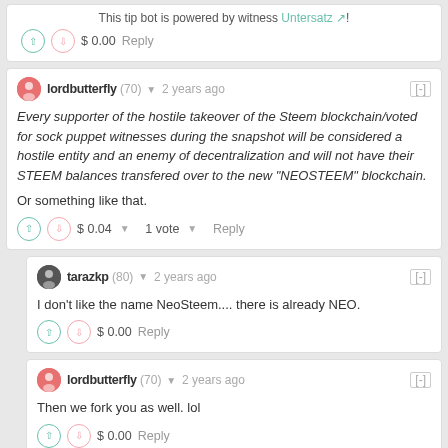This tip bot is powered by witness Untersatz!
$ 0.00   Reply
lordbutterfly (70) ▼  2 years ago  [-]
Every supporter of the hostile takeover of the Steem blockchain/voted for sock puppet witnesses during the snapshot will be considered a hostile entity and an enemy of decentralization and will not have their STEEM balances transfered over to the new "NEOSTEEM" blockchain.

Or something like that.
$ 0.04 ▼   1 vote ▼   Reply
tarazkp (80) ▼  2 years ago  [-]
I don't like the name NeoSteem.... there is already NEO.
$ 0.00   Reply
lordbutterfly (70) ▼  2 years ago  [-]
Then we fork you as well. lol
$ 0.00   Reply